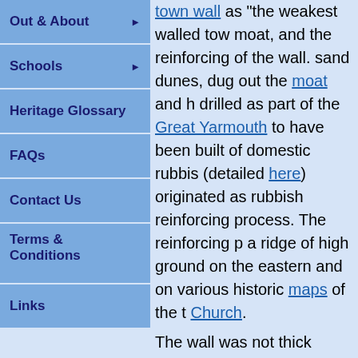Out & About
Schools
Heritage Glossary
FAQs
Contact Us
Terms & Conditions
Links
town wall as "the weakest walled town wall", moat, and the reinforcing of the wall. sand dunes, dug out the moat and h drilled as part of the Great Yarmouth to have been built of domestic rubbish (detailed here) originated as rubbish reinforcing process. The reinforcing p a ridge of high ground on the eastern and on various historic maps of the t Church.
The wall was not thick enough to mo constructed. The first mount was on 1569. It is visible on the 1588 map o large earth mound, straddling the wa
This was built into the New Mount in 1570, as a small earth mound with tw Mount, and was built around 1626, in area of the Main Guard uncovered e